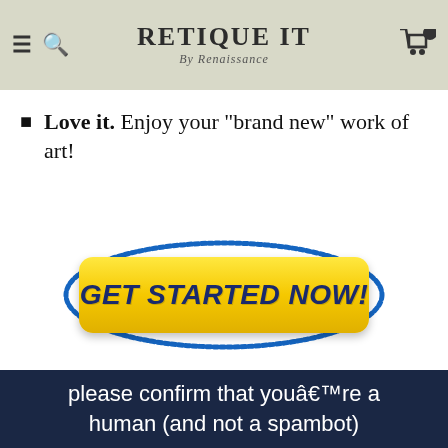Retique It By Renaissance
Love it. Enjoy your "brand new" work of art!
[Figure (other): Yellow call-to-action button with text GET STARTED NOW! surrounded by a blue oval border, on a white background]
please confirm that youâ€™re a human (and not a spambot)